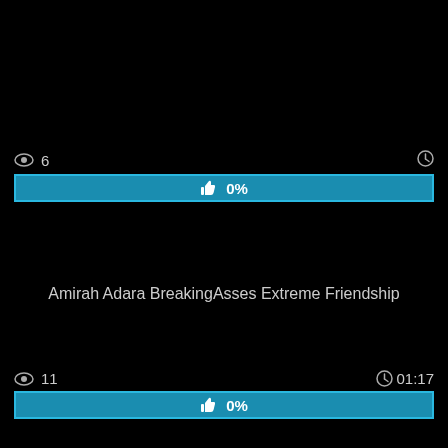[Figure (screenshot): Video thumbnail card - top card showing view count 6, clock icon, rating bar 0%, title 'Amirah Adara BreakingAsses Extreme Friendship']
[Figure (screenshot): Video thumbnail card - bottom card showing view count 11, duration 01:17, rating bar 0%]